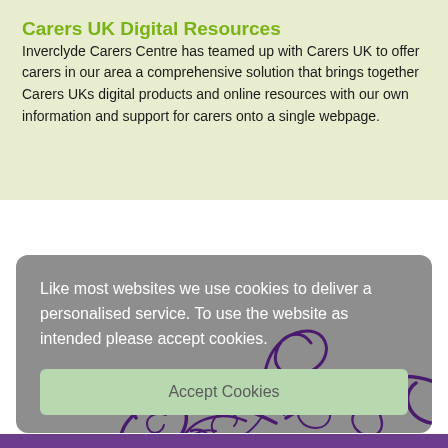Carers UK Digital Resources
Inverclyde Carers Centre has teamed up with Carers UK to offer carers in our area a comprehensive solution that brings together Carers UKs digital products and online resources with our own information and support for carers onto a single webpage.
Like most websites we use cookies to deliver a personalised service. To use the website as intended please accept cookies.
Accept Cookies